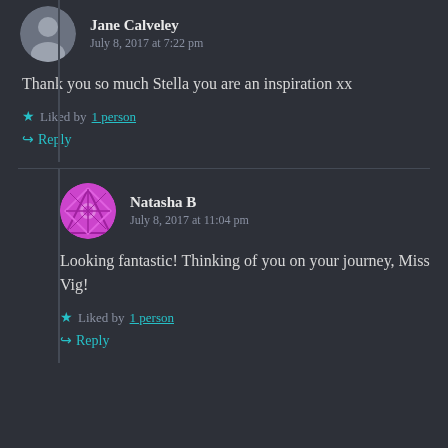Jane Calveley
July 8, 2017 at 7:22 pm
Thank you so much Stella you are an inspiration xx
Liked by 1 person
Reply
Natasha B
July 8, 2017 at 11:04 pm
Looking fantastic! Thinking of you on your journey, Miss Vig!
Liked by 1 person
Reply